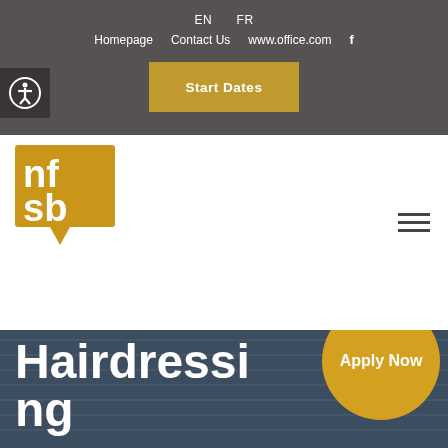EN  FR  Homepage  Contact Us  www.office.com  f
Start Dates
[Figure (logo): NFSB logo - orange/gold square with white bold lowercase letters 'nf' and 'sb' with a speech bubble pointer at the bottom]
Hairdressing
Apply Now